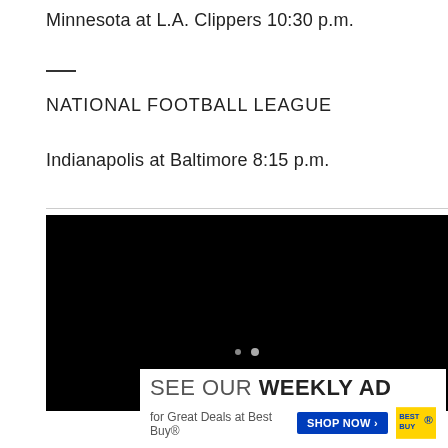Minnesota at L.A. Clippers 10:30 p.m.
—
NATIONAL FOOTBALL LEAGUE
Indianapolis at Baltimore 8:15 p.m.
[Figure (screenshot): Black video player with two small dot indicators centered near bottom]
[Figure (infographic): Best Buy advertisement banner: SEE OUR WEEKLY AD for Great Deals at Best Buy® with SHOP NOW button and Best Buy logo]